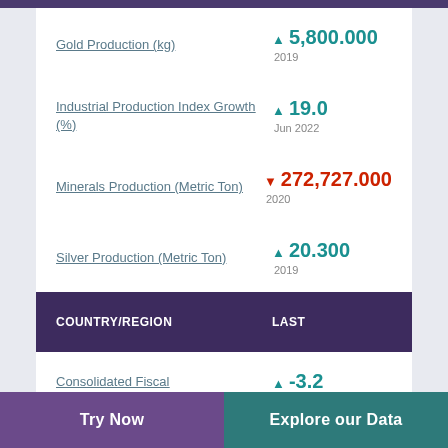Gold Production (kg) ▲ 5,800.000 2019
Industrial Production Index Growth (%) ▲ 19.0 Jun 2022
Minerals Production (Metric Ton) ▼ 272,727.000 2020
Silver Production (Metric Ton) ▲ 20.300 2019
COUNTRY/REGION    LAST
Consolidated Fiscal ▲ -3.2
Try Now    Explore our Data